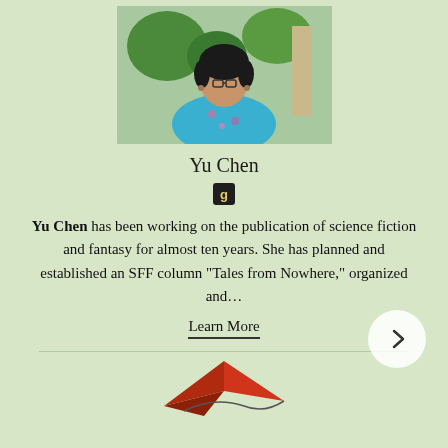[Figure (photo): Portrait photo of Yu Chen, a woman wearing glasses and a blue floral dress, standing outdoors with greenery in the background]
Yu Chen
[Figure (logo): Goodreads icon: dark square with letter g in golden/yellow color]
Yu Chen has been working on the publication of science fiction and fantasy for almost ten years. She has planned and established an SFF column "Tales from Nowhere," organized and...
Learn More
[Figure (illustration): Bottom partial illustration of a red paper airplane or origami shape]